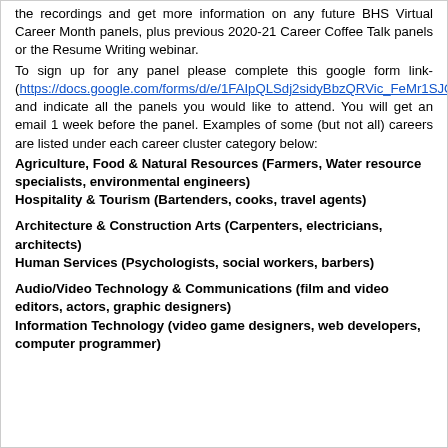the recordings and get more information on any future BHS Virtual Career Month panels, plus previous 2020-21 Career Coffee Talk panels or the Resume Writing webinar.
To sign up for any panel please complete this google form link-(https://docs.google.com/forms/d/e/1FAIpQLSdj2sidyBbzQRVic_FeMr1SJQY8Gp0KBx6HXtVgrLnUvBU1Dw/viewform) and indicate all the panels you would like to attend. You will get an email 1 week before the panel. Examples of some (but not all) careers are listed under each career cluster category below:
Agriculture, Food & Natural Resources (Farmers, Water resource specialists, environmental engineers)
Hospitality & Tourism (Bartenders, cooks, travel agents)
Architecture & Construction Arts (Carpenters, electricians, architects)
Human Services (Psychologists, social workers, barbers)
Audio/Video Technology & Communications (film and video editors, actors, graphic designers)
Information Technology (video game designers, web developers, computer programmer)